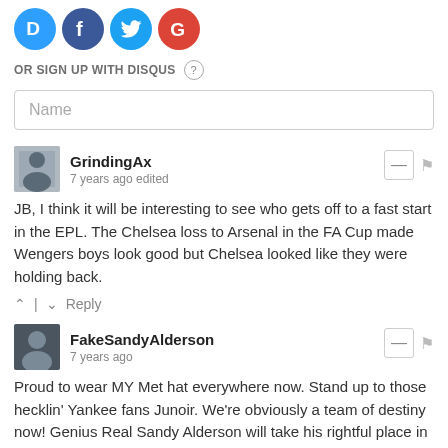[Figure (logo): Four social login icons: Disqus (blue D), Facebook (blue f), Twitter (blue bird), Google (red G)]
OR SIGN UP WITH DISQUS ?
Name
GrindingAx
7 years ago edited
JB, I think it will be interesting to see who gets off to a fast start in the EPL. The Chelsea loss to Arsenal in the FA Cup made Wengers boys look good but Chelsea looked like they were holding back.
Reply
FakeSandyAlderson
7 years ago
Proud to wear MY Met hat everywhere now. Stand up to those hecklin' Yankee fans Junoir. We're obviously a team of destiny now! Genius Real Sandy Alderson will take his rightful place in Cooperstown after the Metsies win the WS this year! Yes, THIS year! The Magic is back! Baseball Like it